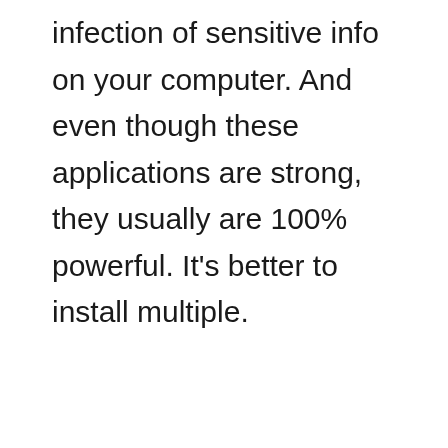infection of sensitive info on your computer. And even though these applications are strong, they usually are 100% powerful. It’s better to install multiple.
admin  24 Tháng Bảy, 2022  Uncategorized  Đăng bình luận